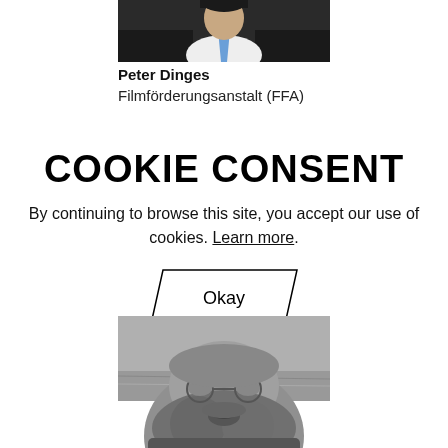[Figure (photo): Top portion of a photo showing a man in a dark suit with a blue tie, cropped at chest level]
Peter Dinges
Filmförderungsanstalt (FFA)
COOKIE CONSENT
By continuing to browse this site, you accept our use of cookies. Learn more.
Okay
[Figure (photo): Black and white photo showing the lower face of a man with a large beard, smiling slightly, outdoors near water]